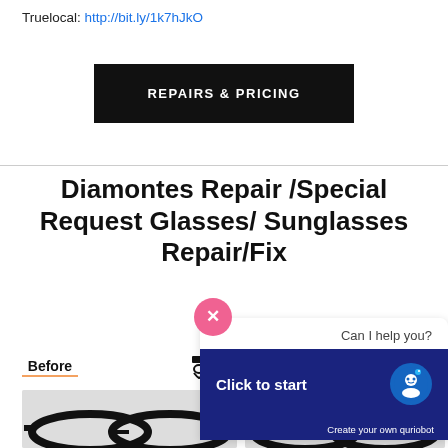Truelocal: http://bit.ly/1k7hJkO
REPAIRS & PRICING
Diamontes Repair /Special Request Glasses/ Sunglasses Repair/Fix
Before
[Figure (screenshot): Chatbot widget overlay showing 'Can I help you?' text, 'Click to start' button with robot avatar, and 'Create your own quriobot' footer. Also shows a close (X) button in coral/pink color.]
[Figure (photo): Before and after photos of sunglasses repair, showing black thick-framed glasses at bottom of page.]